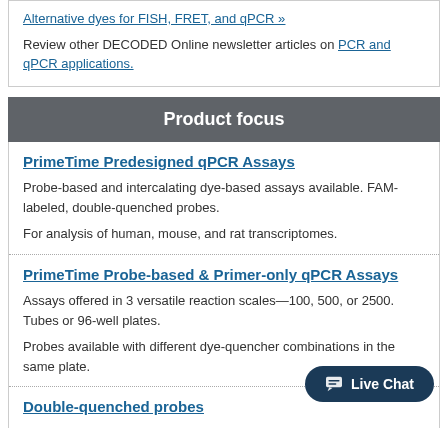Alternative dyes for FISH, FRET, and qPCR »
Review other DECODED Online newsletter articles on PCR and qPCR applications.
Product focus
PrimeTime Predesigned qPCR Assays
Probe-based and intercalating dye-based assays available. FAM-labeled, double-quenched probes.
For analysis of human, mouse, and rat transcriptomes.
PrimeTime Probe-based & Primer-only qPCR Assays
Assays offered in 3 versatile reaction scales—100, 500, or 2500. Tubes or 96-well plates.
Probes available with different dye-quencher combinations in the same plate.
Double-quenched probes